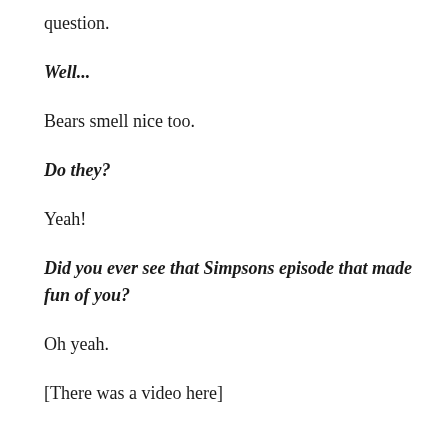question.
Well...
Bears smell nice too.
Do they?
Yeah!
Did you ever see that Simpsons episode that made fun of you?
Oh yeah.
[There was a video here]